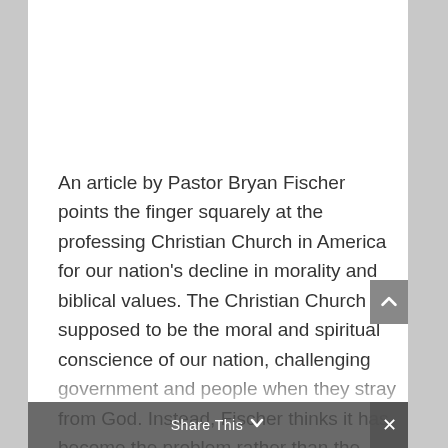An article by Pastor Bryan Fischer points the finger squarely at the professing Christian Church in America for our nation's decline in morality and biblical values.  The Christian Church is supposed to be the moral and spiritual conscience of our nation, challenging government and people when they stray from God.  Instead, Fischer thinks it has become the problem rather than the solution. Mike and David discuss this on today's program...
Share This ∨  ×